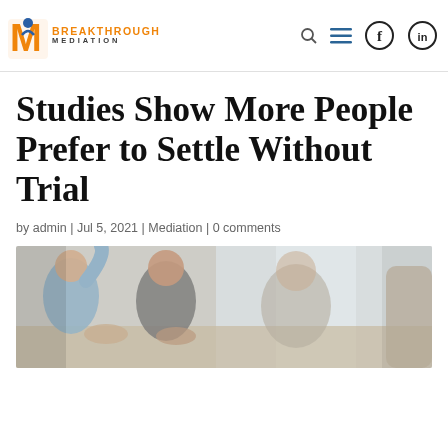Breakthrough Mediation — navigation bar with logo, search, menu, Facebook and LinkedIn icons
Studies Show More People Prefer to Settle Without Trial
by admin | Jul 5, 2021 | Mediation | 0 comments
[Figure (photo): Photo of a group of people sitting around a table in a meeting or mediation session, blurred background with window light]